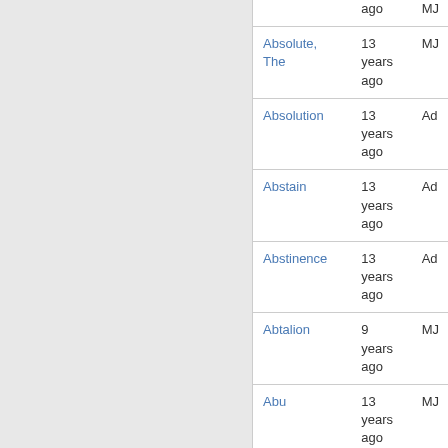| Name | Time | User |
| --- | --- | --- |
|  | ago | MJ |
| Absolute, The | 13 years ago | MJ |
| Absolution | 13 years ago | Ad |
| Abstain | 13 years ago | Ad |
| Abstinence | 13 years ago | Ad |
| Abtalion | 9 years ago | MJ |
| Abu | 13 years ago | MJ |
| Abu Ghosh | 9 years ago | MJ |
| Abu Talib | 13 years | MJ |